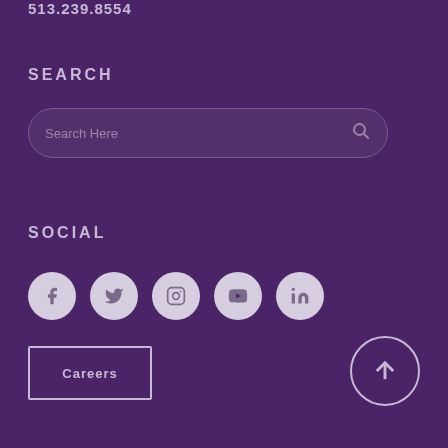513.239.8554
SEARCH
[Figure (other): Search input box with placeholder text 'Search Here' and a magnifying glass icon]
SOCIAL
[Figure (other): Row of 5 social media icon circles: Facebook, Twitter, Instagram, YouTube, LinkedIn]
Careers
[Figure (other): Back to top arrow button circle]